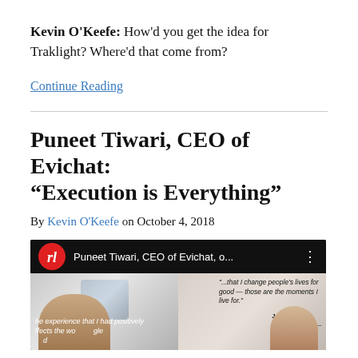Kevin O'Keefe: How'd you get the idea for Traklight? Where'd that come from?
Continue Reading
Puneet Tiwari, CEO of Evichat: “Execution is Everything”
By Kevin O'Keefe on October 4, 2018
[Figure (screenshot): Video thumbnail showing Puneet Tiwari, CEO of Evichat with red logo and black header bar, two people visible in video frame]